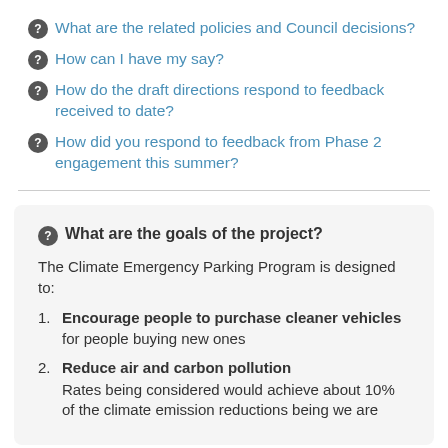What are the related policies and Council decisions?
How can I have my say?
How do the draft directions respond to feedback received to date?
How did you respond to feedback from Phase 2 engagement this summer?
What are the goals of the project?
The Climate Emergency Parking Program is designed to:
Encourage people to purchase cleaner vehicles for people buying new ones
Reduce air and carbon pollution Rates being considered would achieve about 10% of the climate emission reductions being we are